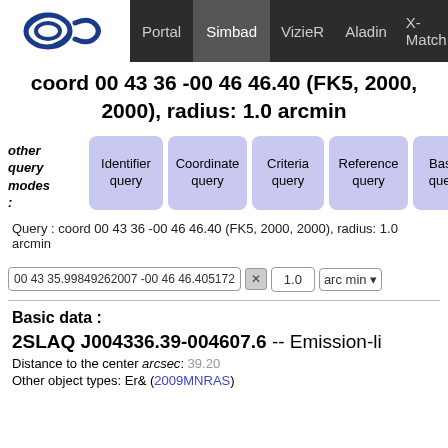Portal | Simbad | VizieR | Aladin | X-Match | Other
coord 00 43 36 -00 46 46.40 (FK5, 2000, 2000), radius: 1.0 arcmin
other query modes: | Identifier query | Coordinate query | Criteria query | Reference query | Basic query
Query : coord 00 43 36 -00 46 46.40 (FK5, 2000, 2000), radius: 1.0 arcmin
00 43 35.99849262007 -00 46 46.405172  1.0  arc min
Basic data :
2SLAQ J004336.39-004607.6 -- Emission-li
Distance to the center arcsec: 39.20
Other object types: ErS (2009MNRAS)